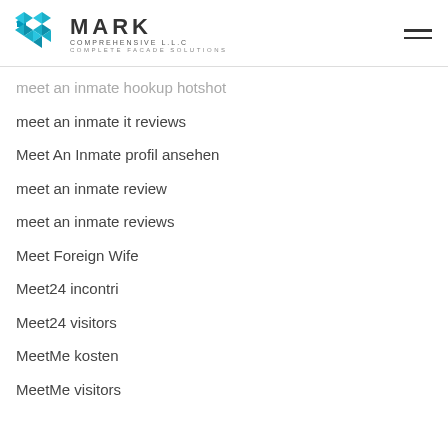MARK COMPREHENSIVE L.L.C — COMPLETE FACADE SOLUTIONS
meet an inmate hookup hotshot
meet an inmate it reviews
Meet An Inmate profil ansehen
meet an inmate review
meet an inmate reviews
Meet Foreign Wife
Meet24 incontri
Meet24 visitors
MeetMe kosten
MeetMe visitors